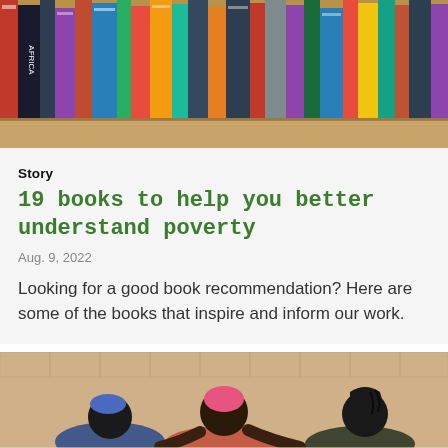[Figure (photo): A shelf of books viewed from the side, showing many colorful book spines crowded together on wooden shelving.]
Story
19 books to help you better understand poverty
Aug. 9, 2022
Looking for a good book recommendation? Here are some of the books that inspire and inform our work.
[Figure (photo): A group of women and children sitting together outdoors near a sandy wall, appearing to be engaged in an activity or learning session.]